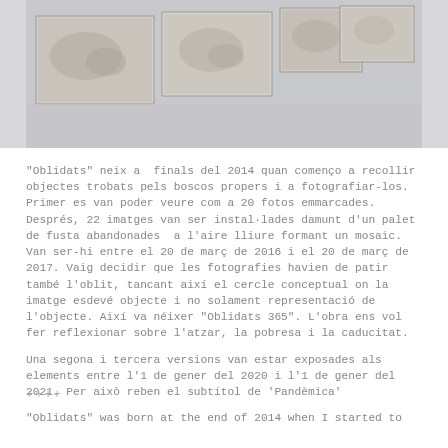[Figure (photo): Gallery installation photo showing multiple small framed photographs of found objects arranged on a light gray wall background]
"Oblidats" neix a  finals del 2014 quan començo a recollir objectes trobats pels boscos propers i a fotografiar-los. Primer es van poder veure com a 20 fotos emmarcades. Després, 22 imatges van ser instal·lades damunt d'un palet de fusta abandonades  a l'aire lliure formant un mosaic. Van ser-hi entre el 20 de març de 2016 i el 20 de març de 2017. Vaig decidir que les fotografies havien de patir també l'oblit, tancant així el cercle conceptual on la imatge esdevé objecte i no solament representació de l'objecte. Així va néixer "Oblidats 365". L'obra ens vol fer reflexionar sobre l'atzar, la pobresa i la caducitat.
Una segona i tercera versions van estar exposades als elements entre l'1 de gener del 2020 i l'1 de gener del 2021. Per això reben el subtítol de 'Pandèmica'
++++
"Oblidats" was born at the end of 2014 when I started to